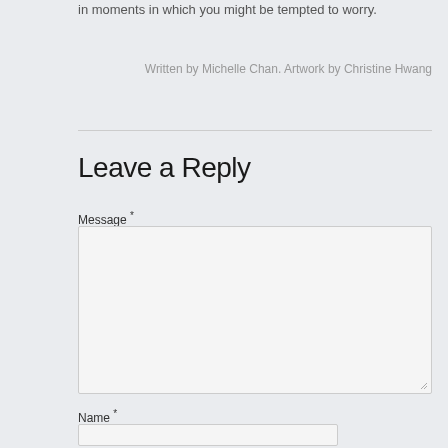in moments in which you might be tempted to worry.
Written by Michelle Chan. Artwork by Christine Hwang
Leave a Reply
Message *
Name *